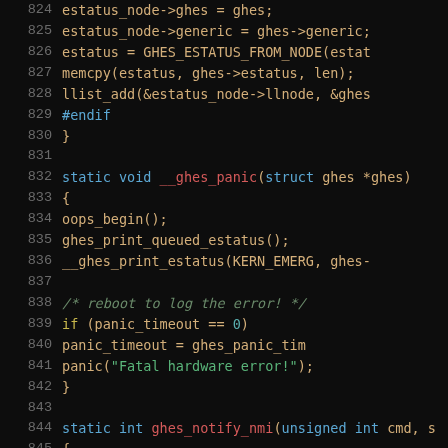[Figure (screenshot): Source code screenshot showing C kernel code lines 824-853 on a dark background. Code includes functions __ghes_panic and ghes_notify_nmi with syntax highlighting in orange, red, blue, green, and teal colors.]